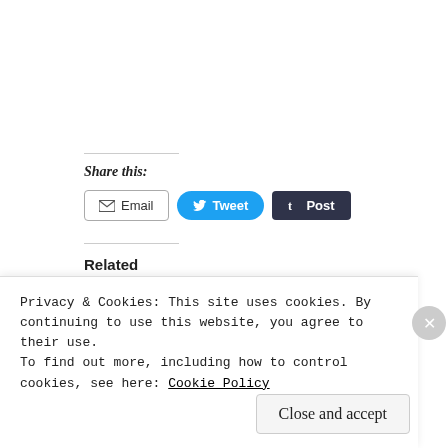Share this:
[Figure (other): Share buttons: Email, Tweet, Post]
Related
By special request...   "...Rite of Passage"
Privacy & Cookies: This site uses cookies. By continuing to use this website, you agree to their use.
To find out more, including how to control cookies, see here: Cookie Policy
Close and accept